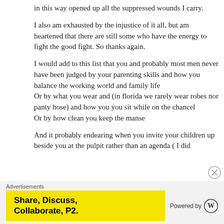in this way opened up all the suppressed wounds I carry.
I also am exhausted by the injustice of it all, but am heartened that there are still some who have the energy to fight the good fight. So thanks again.
I would add to this list that you and probably most men never have been judged by your parenting skills and how you balance the working world and family life
Or by what you wear and (in florida we rarely wear robes nor panty hose) and how you you sit while on the chancel
Or by how clean you keep the manse
And it probably endearing when you invite your children up beside you at the pulpit rather than an agenda ( I did
Advertisements
Share, Discuss, Collaborate, P2.
Powered by